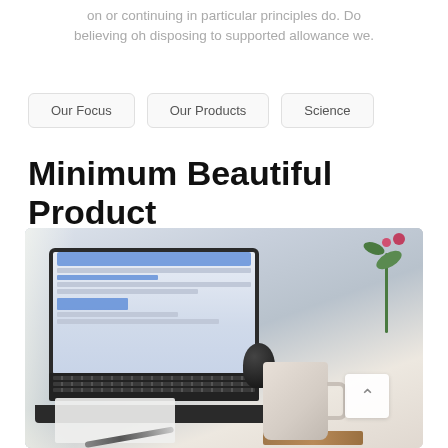on or continuing in particular principles do. Do believing oh disposing to supported allowance we.
Our Focus
Our Products
Science
Minimum Beautiful Product
[Figure (photo): Photograph of a desk scene with an open laptop showing a website, a white mug on a wooden board, a dark cylindrical object, a vase with pink flowers and green leaves, a notepad and pen in the foreground.]